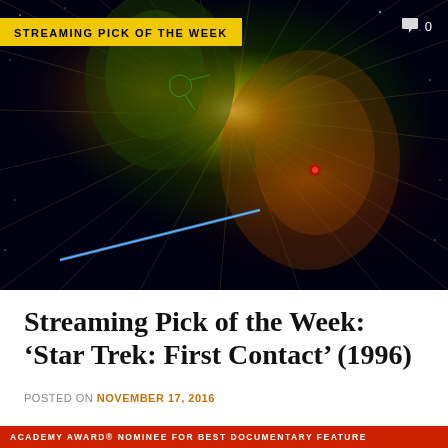[Figure (photo): Movie poster for Star Trek: First Contact (1996) showing Borg and human faces overlaid against a starfield with radial light rays, with a yellow 'STREAMING PICK OF THE WEEK' banner overlay and a comment icon showing 0]
Streaming Pick of the Week: ‘Star Trek: First Contact’ (1996)
POSTED ON NOVEMBER 17, 2016
ACADEMY AWARD® NOMINEE FOR BEST DOCUMENTARY FEATURE